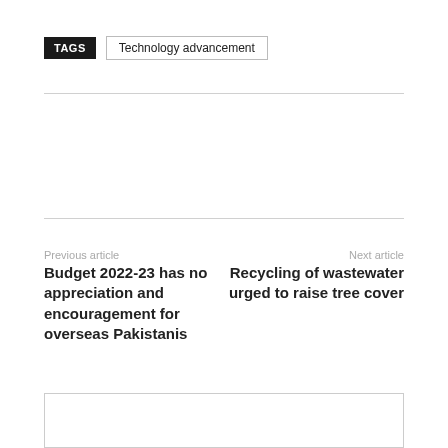TAGS   Technology advancement
Previous article
Next article
Budget 2022-23 has no appreciation and encouragement for overseas Pakistanis
Recycling of wastewater urged to raise tree cover